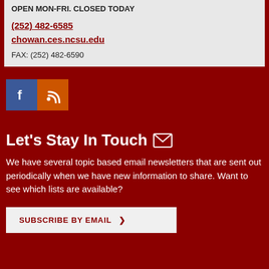OPEN MON-FRI. CLOSED TODAY
(252) 482-6585
chowan.ces.ncsu.edu
FAX: (252) 482-6590
[Figure (logo): Facebook icon (blue square with white F) and RSS icon (orange square with white RSS symbol)]
Let's Stay In Touch
We have several topic based email newsletters that are sent out periodically when we have new information to share. Want to see which lists are available?
SUBSCRIBE BY EMAIL